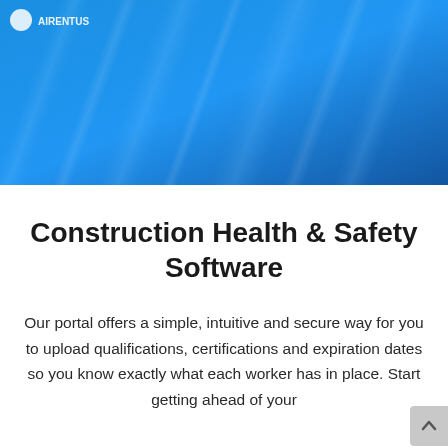[Figure (illustration): Blue gradient hero banner with diagonal light streaks and a white circular logo icon with text in the top left corner]
Construction Health & Safety Software
Our portal offers a simple, intuitive and secure way for you to upload qualifications, certifications and expiration dates so you know exactly what each worker has in place. Start getting ahead of your